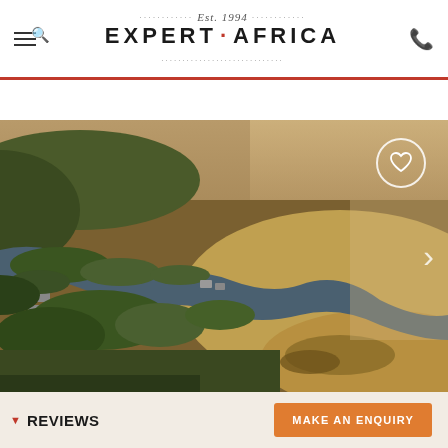Expert Africa — Est. 1994 — navigation header with menu, logo and phone icon
/ KALAHARI SALT PANS ▼ / MENO A KWENA ▼ / REVIEWS ▼
[Figure (photo): Aerial drone photograph of Meno a Kwena safari camp in Botswana, showing a winding river through arid Kalahari landscape with green bushes and sandy river banks, a cluster of camp buildings visible along the riverbank, and dusty haze in the background. A heart/favourite button circle is overlaid in the upper right and a right-arrow navigation chevron on the right side.]
▼ REVIEWS
MAKE AN ENQUIRY